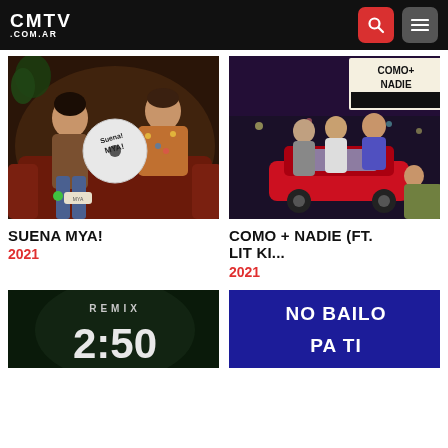CMTV .COM.AR
[Figure (photo): Two men seated casually, one holding a vinyl record labeled 'Suena Mya!' — promotional photo for the song]
SUENA MYA!
2021
[Figure (photo): Group of men posing around a red car with 'COMO + NADIE' text visible — promotional photo]
COMO + NADIE (FT. LIT KI...
2021
[Figure (photo): Dark green background with 'REMIX 2:50' text — partial thumbnail visible at bottom]
[Figure (photo): Blue background with white bold text 'NO BAILO PA TI' — partial thumbnail visible at bottom]